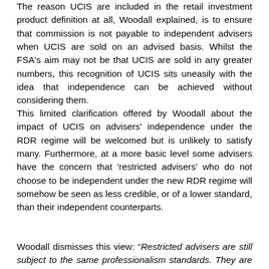The reason UCIS are included in the retail investment product definition at all, Woodall explained, is to ensure that commission is not payable to independent advisers when UCIS are sold on an advised basis. Whilst the FSA's aim may not be that UCIS are sold in any greater numbers, this recognition of UCIS sits uneasily with the idea that independence can be achieved without considering them.
This limited clarification offered by Woodall about the impact of UCIS on advisers' independence under the RDR regime will be welcomed but is unlikely to satisfy many. Furthermore, at a more basic level some advisers have the concern that 'restricted advisers' who do not choose to be independent under the new RDR regime will somehow be seen as less credible, or of a lower standard, than their independent counterparts.
Woodall dismisses this view: "Restricted advisers are still subject to the same professionalism standards. They are also